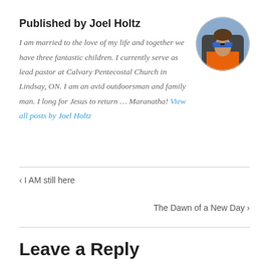Published by Joel Holtz
[Figure (photo): Circular avatar photo of Joel Holtz wearing orange shirt and blue reflective sunglasses, seated in a vehicle]
I am married to the love of my life and together we have three fantastic children. I currently serve as lead pastor at Calvary Pentecostal Church in Lindsay, ON. I am an avid outdoorsman and family man. I long for Jesus to return … Maranatha! View all posts by Joel Holtz
< I AM still here
The Dawn of a New Day >
Leave a Reply